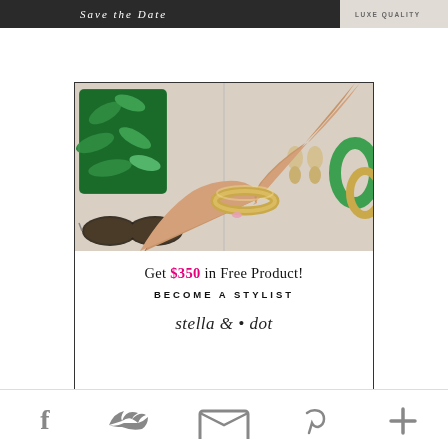[Figure (photo): Top strip showing partial image with dark background on left with cursive 'Save the Date' text and 'LUXE QUALITY' text on right with lighter background]
[Figure (illustration): Stella & Dot advertisement showing hands holding a gold bangle bracelet, with green tropical leaf glasses case, sunglasses, gold drop earrings, and bangles in background. Text reads: Get $350 in Free Product! BECOME A STYLIST, stella & dot logo]
[Figure (other): Social sharing bar at bottom with Facebook, Twitter, Email, Pinterest, and Plus icons]